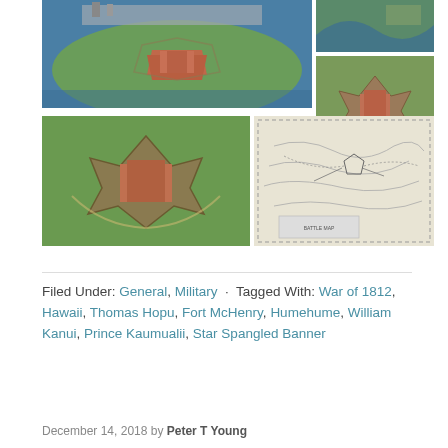[Figure (photo): Collage of four images: large aerial photo of Fort McHenry on a peninsula surrounded by water (top left), aerial photo of a river bend (top right), aerial photo of a star-shaped fort with earthworks (middle right), aerial photo of a star fort from ground level (bottom left), and a historical battle map/sketch (bottom right)]
Filed Under: General, Military · Tagged With: War of 1812, Hawaii, Thomas Hopu, Fort McHenry, Humehume, William Kanui, Prince Kaumualii, Star Spangled Banner
December 14, 2018 by Peter T Young